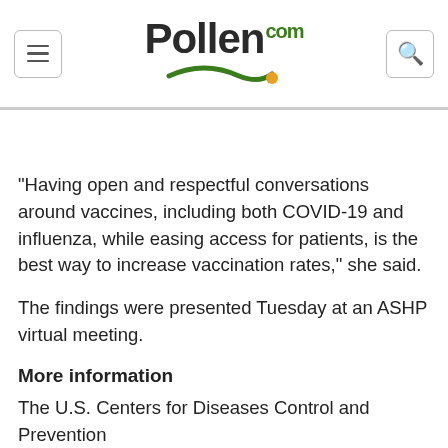Pollen.com
"Having open and respectful conversations around vaccines, including both COVID-19 and influenza, while easing access for patients, is the best way to increase vaccination rates," she said.
The findings were presented Tuesday at an ASHP virtual meeting.
More information
The U.S. Centers for Diseases Control and Prevention